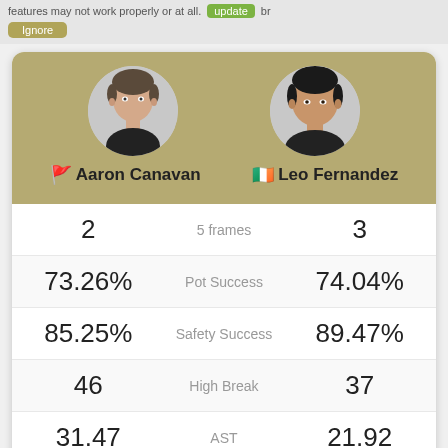features may not work properly or at all. [update] [ignore]
[Figure (infographic): Snooker match stats card showing Aaron Canavan vs Leo Fernandez with player photos, flags, and match statistics]
| Aaron Canavan | Stat | Leo Fernandez |
| --- | --- | --- |
| 2 | 5 frames | 3 |
| 73.26% | Pot Success | 74.04% |
| 85.25% | Safety Success | 89.47% |
| 46 | High Break | 37 |
| 31.47 | AST | 21.92 |
| 63 | Balls potted | 77 |
Frame scores: 56-8; 19-71; 73-45; 50-69; 10-61